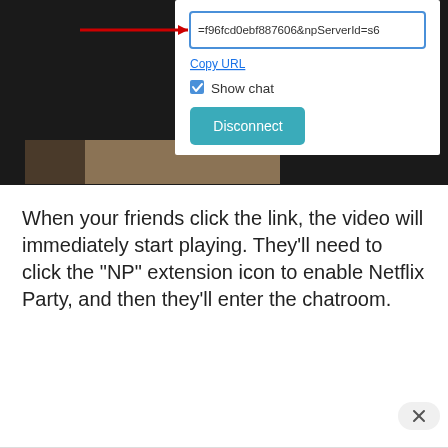[Figure (screenshot): Screenshot of a Netflix Party browser extension popup showing a URL input field with value '=f96fcd0ebf887606&npServerId=s6', a red arrow pointing to it, a 'Copy URL' link, a 'Show chat' checkbox that is checked, and a 'Disconnect' button in teal/blue color. The popup is overlaid on a dark/black video player background with a partial image visible at the bottom.]
When your friends click the link, the video will immediately start playing. They’ll need to click the “NP” extension icon to enable Netflix Party, and then they’ll enter the chatroom.